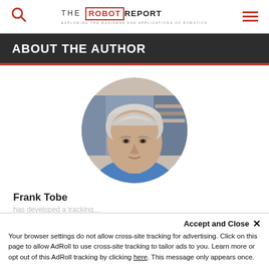THE ROBOT REPORT — EXPLORING THE BUSINESS AND APPLICATIONS OF ROBOTICS
ABOUT THE AUTHOR
[Figure (photo): Circular cropped headshot of Frank Tobe, an elderly man with white/grey hair wearing a blue shirt, photographed indoors]
Frank Tobe
Your browser settings do not allow cross-site tracking for advertising. Click on this page to allow AdRoll to use cross-site tracking to tailor ads to you. Learn more or opt out of this AdRoll tracking by clicking here. This message only appears once.
[partially visible body text about developed a tracking...]